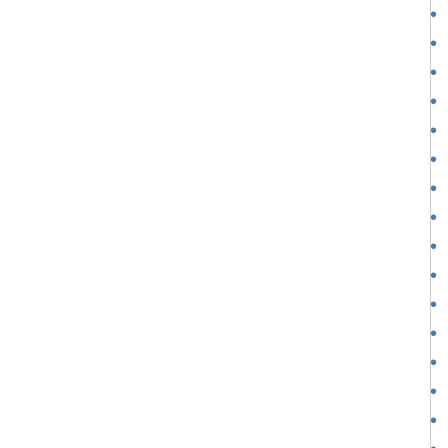U.S. 30 between Ogallala and North Platte
Casino — Elko, Nevada
U.S. 91, leaving Blackfoot, Idaho
St. Petersburg, Florida
Covered car — Long Beach, California
Car accident — U.S. 66, between Winslow
U.S. 285, New Mexico
Bar — Detroit
Barber shop through screen door — McClel
Backyard — Venice West, California
Funeral — St. Helena, South Carolina
Newburgh, New York
Luncheonette — Butte, Montana
Santa Fe, New Mexico
Bar — New York City
Elevator — Miami Beach
Restaurant — U.S. 1 leaving Columbia, SC
Drive-in movie — Detroit
Mississippi River, Baton Rouge, Louisiana
St. Francis, gas station, and City Hall —